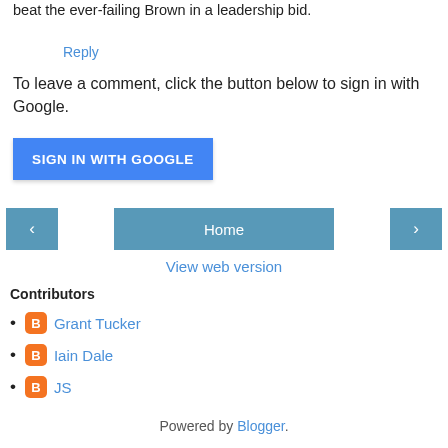beat the ever-failing Brown in a leadership bid.
Reply
To leave a comment, click the button below to sign in with Google.
[Figure (other): SIGN IN WITH GOOGLE button - blue rounded rectangle button with white bold text]
[Figure (other): Navigation row with left arrow button, Home button, and right arrow button]
View web version
Contributors
Grant Tucker
Iain Dale
JS
Powered by Blogger.